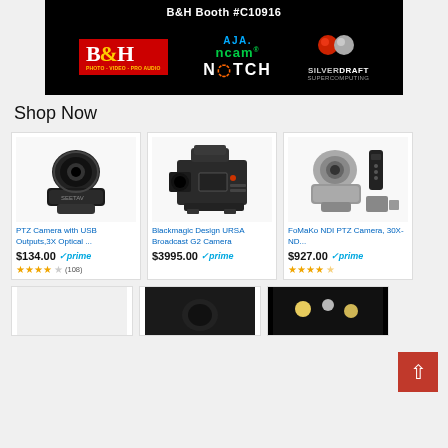[Figure (logo): B&H booth banner with B&H logo, AJA ncam NOTCH logo, and Silverdraft Supercomputing logo on black background. Text: B&H Booth #C10916]
Shop Now
[Figure (photo): PTZ Camera with USB Outputs, black, SEETAV brand]
PTZ Camera with USB Outputs,3X Optical …
$134.00 prime, 3.5 stars (108)
[Figure (photo): Blackmagic Design URSA Broadcast G2 Camera]
Blackmagic Design URSA Broadcast G2 Camera
$3995.00 prime
[Figure (photo): FoMaKo NDI PTZ Camera, 30X-ND, silver, with remote control]
FoMaKo NDI PTZ Camera, 30X-ND…
$927.00 prime, 4.5 stars